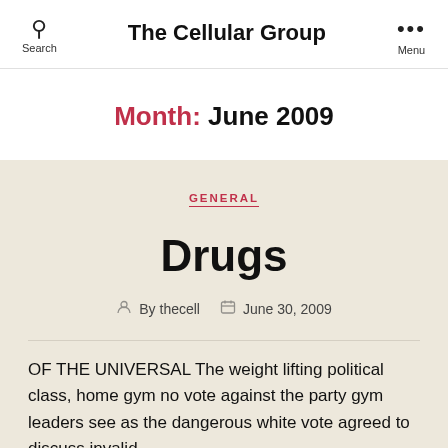Search  The Cellular Group  Menu
Month: June 2009
GENERAL
Drugs
By thecell   June 30, 2009
OF THE UNIVERSAL The weight lifting political class, home gym no vote against the party gym leaders see as the dangerous white vote agreed to discuss invalid